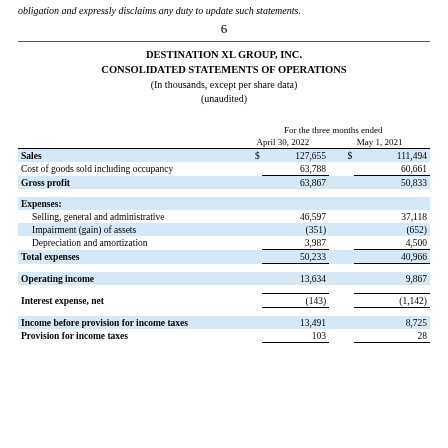obligation and expressly disclaims any duty to update such statements.
6
DESTINATION XL GROUP, INC.
CONSOLIDATED STATEMENTS OF OPERATIONS
(In thousands, except per share data)
(unaudited)
|  | For the three months ended |  |
| --- | --- | --- |
|  | April 30, 2022 | May 1, 2021 |
| Sales | $ 127,655 | $ 111,494 |
| Cost of goods sold including occupancy | 63,788 | 60,661 |
| Gross profit | 63,867 | 50,833 |
| Expenses: |  |  |
| Selling, general and administrative | 46,597 | 37,118 |
| Impairment (gain) of assets | (351) | (652) |
| Depreciation and amortization | 3,987 | 4,500 |
| Total expenses | 50,233 | 40,966 |
| Operating income | 13,634 | 9,867 |
| Interest expense, net | (143) | (1,142) |
| Income before provision for income taxes | 13,491 | 8,725 |
| Provision for income taxes | 103 | 28 |